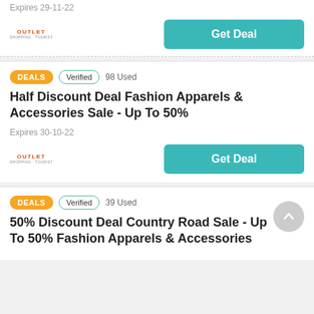Expires 29-11-22
[Figure (logo): Outlet store logo]
Get Deal
DEALS  Verified  98 Used
Half Discount Deal Fashion Apparels & Accessories Sale - Up To 50%
Expires 30-10-22
[Figure (logo): Outlet store logo]
Get Deal
DEALS  Verified  39 Used
50% Discount Deal Country Road Sale - Up To 50% Fashion Apparels & Accessories